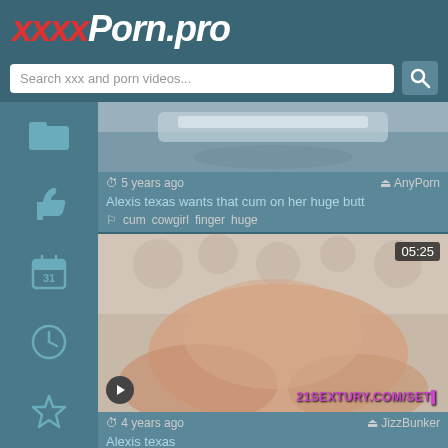xxxxPorn.pro
Search xxx and porn videos...
5 years ago  AnyPorn
Alexis texas wants that cum on her huge butt
cum  cowgirl  finger  huge
[Figure (screenshot): Video thumbnail showing a car scene, cropped at top]
[Figure (screenshot): Video thumbnail 05:25 showing adult content with 21SEXTURY.COM/SET watermark]
4 years ago  JizzBunker
Alexis texas